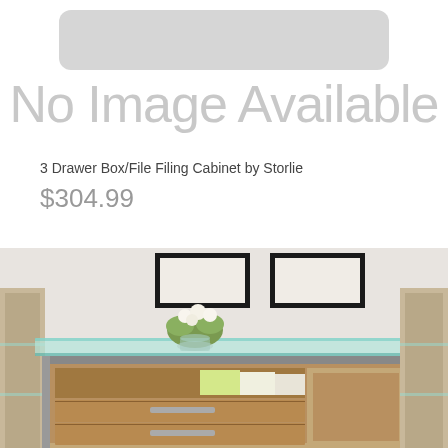[Figure (other): No Image Available placeholder with rounded rectangle graphic and large grey text]
3 Drawer Box/File Filing Cabinet by Storlie
$304.99
[Figure (photo): Photo of a wooden filing cabinet with glass top, flower vase, books, two framed artworks on wall behind]